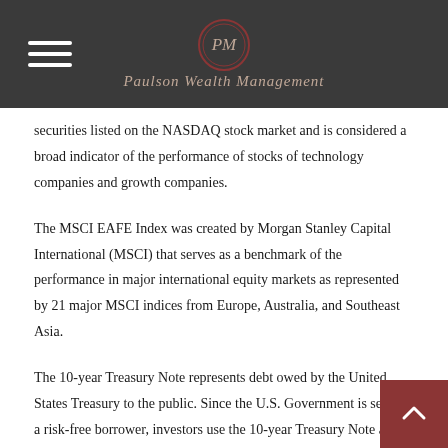Paulson Wealth Management
securities listed on the NASDAQ stock market and is considered a broad indicator of the performance of stocks of technology companies and growth companies.
The MSCI EAFE Index was created by Morgan Stanley Capital International (MSCI) that serves as a benchmark of the performance in major international equity markets as represented by 21 major MSCI indices from Europe, Australia, and Southeast Asia.
The 10-year Treasury Note represents debt owed by the United States Treasury to the public. Since the U.S. Government is seen as a risk-free borrower, investors use the 10-year Treasury Note as a benchmark for the long-term bond market.